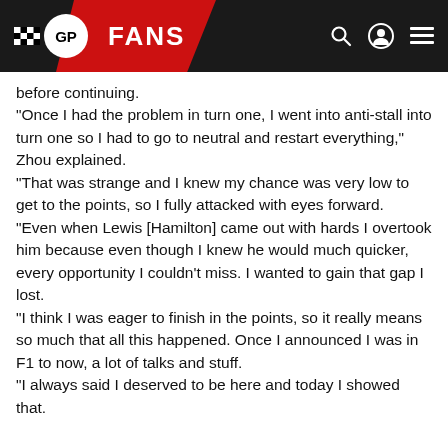GP FANS
before continuing.
"Once I had the problem in turn one, I went into anti-stall into turn one so I had to go to neutral and restart everything," Zhou explained.
"That was strange and I knew my chance was very low to get to the points, so I fully attacked with eyes forward.
"Even when Lewis [Hamilton] came out with hards I overtook him because even though I knew he would much quicker, every opportunity I couldn't miss. I wanted to gain that gap I lost.
"I think I was eager to finish in the points, so it really means so much that all this happened. Once I announced I was in F1 to now, a lot of talks and stuff.
"I always said I deserved to be here and today I showed that.